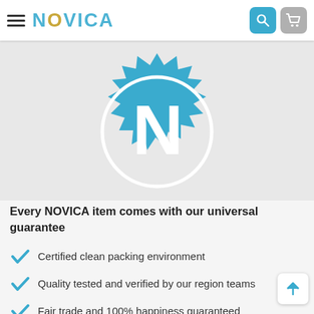NOVICA
[Figure (logo): NOVICA blue seal/badge logo with large N in center, spiky circle border, white outline ring]
Every NOVICA item comes with our universal guarantee
Certified clean packing environment
Quality tested and verified by our region teams
Fair trade and 100% happiness guaranteed